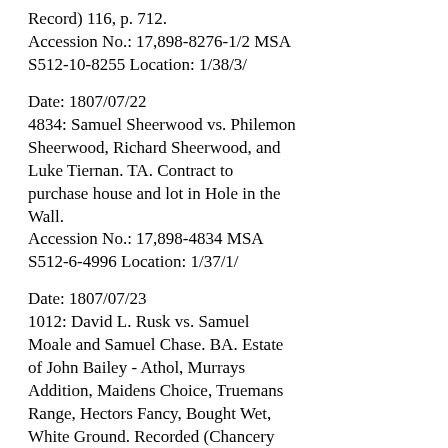Record) 116, p. 712. Accession No.: 17,898-8276-1/2 MSA S512-10-8255 Location: 1/38/3/
Date: 1807/07/22
4834: Samuel Sheerwood vs. Philemon Sheerwood, Richard Sheerwood, and Luke Tiernan. TA. Contract to purchase house and lot in Hole in the Wall.
Accession No.: 17,898-4834 MSA S512-6-4996 Location: 1/37/1/
Date: 1807/07/23
1012: David L. Rusk vs. Samuel Moale and Samuel Chase. BA. Estate of John Bailey - Athol, Murrays Addition, Maidens Choice, Truemans Range, Hectors Fancy, Bought Wet, White Ground. Recorded (Chancery Record) 66, p. 181 and 60, p. 121. Accession No.: 17,898-1012-1/14 MSA S512-2-1058 Location: 1/36/1/
Date: 1807/07/28